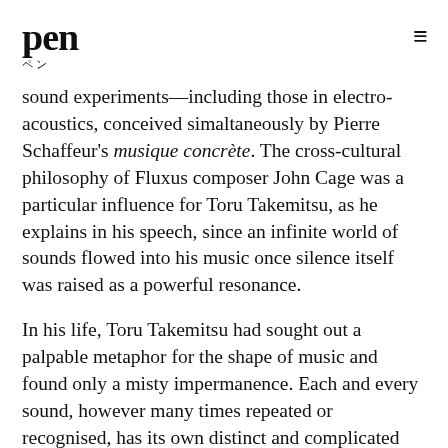pen ペン
sound experiments—including those in electro-acoustics, conceived simaltaneously by Pierre Schaffeur's musique concrète. The cross-cultural philosophy of Fluxus composer John Cage was a particular influence for Toru Takemitsu, as he explains in his speech, since an infinite world of sounds flowed into his music once silence itself was raised as a powerful resonance.
In his life, Toru Takemitsu had sought out a palpable metaphor for the shape of music and found only a misty impermanence. Each and every sound, however many times repeated or recognised, has its own distinct and complicated qualities in its moment. Describing when he had first learnt that birds never sing the same song twice, he reminds us that the fundamental